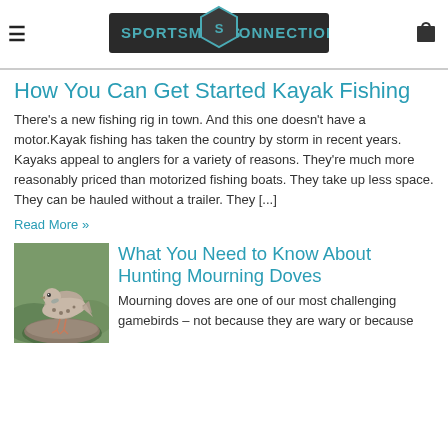Sportsman's Connection
How You Can Get Started Kayak Fishing
There's a new fishing rig in town. And this one doesn't have a motor.Kayak fishing has taken the country by storm in recent years. Kayaks appeal to anglers for a variety of reasons. They're much more reasonably priced than motorized fishing boats. They take up less space. They can be hauled without a trailer. They [...]
Read More »
[Figure (photo): A mourning dove perched on a rock, shown in profile with distinctive spotted wing pattern.]
What You Need to Know About Hunting Mourning Doves
Mourning doves are one of our most challenging gamebirds – not because they are wary or because